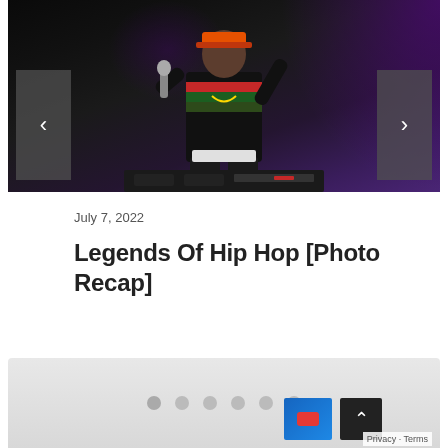[Figure (photo): Concert photo of a hip hop performer on stage holding a microphone, wearing a black and red/green Gucci tracksuit, one arm raised, with purple stage lighting in the background and DJ equipment visible]
July 7, 2022
Legends Of Hip Hop [Photo Recap]
[Figure (other): Navigation carousel with 6 pagination dots and a scrolled card area at the bottom of the page, with a scroll-to-top button and a social media badge overlay]